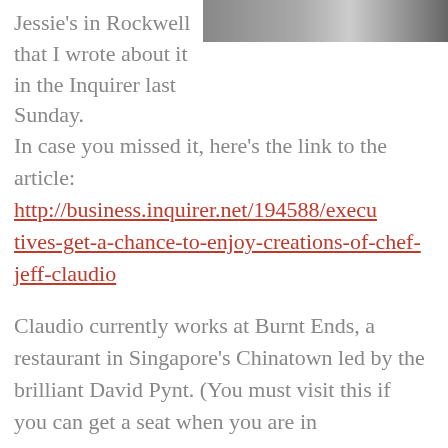[Figure (photo): Partial photograph of a person in a suit, cropped at top right corner of the page]
Jessie's in Rockwell that I wrote about it in the Inquirer last Sunday.
In case you missed it, here's the link to the article: http://business.inquirer.net/194588/executives-get-a-chance-to-enjoy-creations-of-chef-jeff-claudio
Claudio currently works at Burnt Ends, a restaurant in Singapore's Chinatown led by the brilliant David Pynt. (You must visit this if you can get a seat when you are in